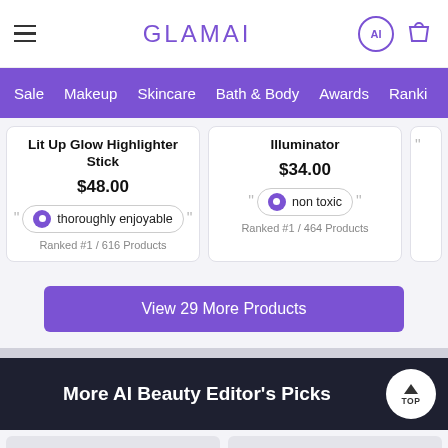GLAMAI
Sale  Makeup  Skincare  Bath & Body  Awards  Ranki...
Lit Up Glow Highlighter Stick  $48.00  "thoroughly enjoyable"  Ranked #1 / 616 Products
Illuminator  $34.00  "non toxic"  Ranked #1 / 464 Products
View 29 More Products
More AI Beauty Editor's Picks